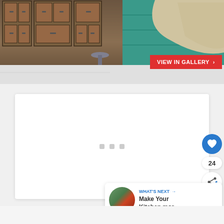[Figure (screenshot): Top portion of a kitchen/dining room interior design image with dark wood cabinets on the left, a teal upholstered booth seat with beige cushion on the right, and a light gray floor. A red 'VIEW IN GALLERY >' button overlays the bottom-right of the image.]
[Figure (screenshot): A white content card/panel with a loading indicator (three small gray square dots) in the center, shown in the middle of the page. On the right side are a blue heart/like button, a count of 24, and a share button.]
VIEW IN GALLERY ›
24
WHAT'S NEXT →
Make Your Kitchen mor...